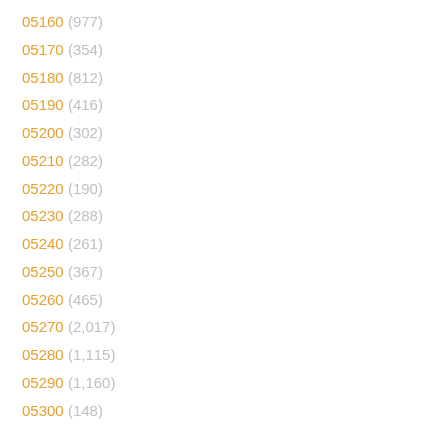05160 (977)
05170 (354)
05180 (812)
05190 (416)
05200 (302)
05210 (282)
05220 (190)
05230 (288)
05240 (261)
05250 (367)
05260 (465)
05270 (2,017)
05280 (1,115)
05290 (1,160)
05300 (148)